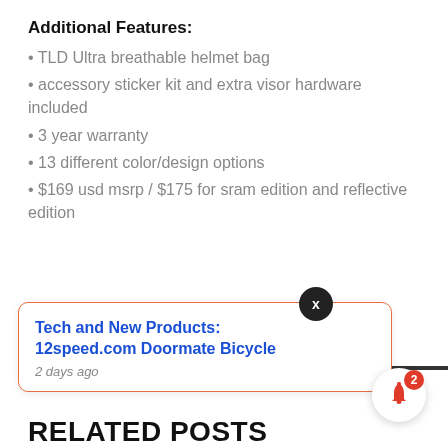Additional Features:
• TLD Ultra breathable helmet bag
• accessory sticker kit and extra visor hardware included
• 3 year warranty
• 13 different color/design options
• $169 usd msrp / $175 for sram edition and reflective edition
🏷 A2 Helmet,featured,March 2017,TLS,Troy Lee Designs
Tech and New Products: 12speed.com Doormate Bicycle
2 days ago
RELATED POSTS